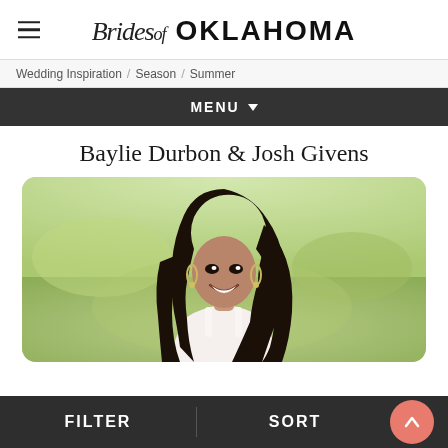Brides of Oklahoma
Wedding Inspiration / Season / Summer
MENU
Baylie Durbon & Josh Givens
[Figure (photo): Portrait of a smiling young woman with long dark wavy hair and chandelier earrings, wearing a white sleeveless top, photographed outdoors with a green lawn background]
FILTER   SORT